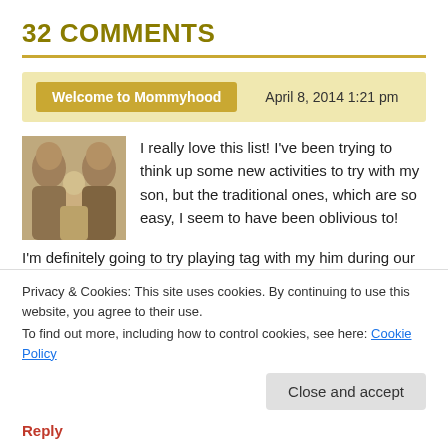32 COMMENTS
Welcome to Mommyhood   April 8, 2014 1:21 pm
[Figure (photo): Sepia-toned family photo showing two adults kissing a baby]
I really love this list! I've been trying to think up some new activities to try with my son, but the traditional ones, which are so easy, I seem to have been oblivious to! I'm definitely going to try playing tag with my him during our next outdoor play session (once the Dutch rain clouds of doom manage to go away). Tag with a Toddler should be fun 😐
Privacy & Cookies: This site uses cookies. By continuing to use this website, you agree to their use.
To find out more, including how to control cookies, see here: Cookie Policy
Close and accept
Reply